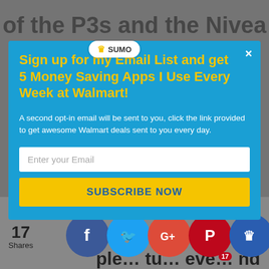of the P3s and the Nivea at my local stores. And they
Sign up for my Email List and get 5 Money Saving Apps I Use Every Week at Walmart!
A second opt-in email will be sent to you, click the link provided to get awesome Walmart deals sent to you every day.
Enter your Email
SUBSCRIBE NOW
[Figure (screenshot): Social share bar with Facebook, Twitter, Google+, Pinterest, and SUMO share icons. Shows 17 shares count on the left.]